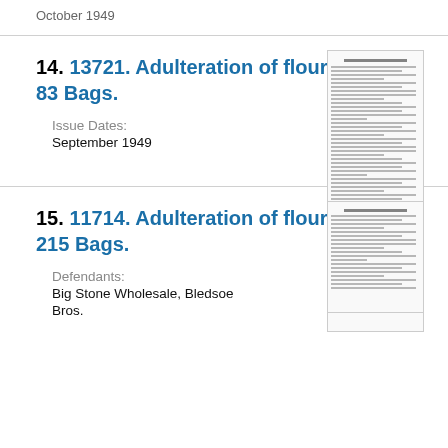October 1949
14. 13721. Adulteration of flour. U. S. v. 83 Bags.
Issue Dates:
September 1949
[Figure (photo): Thumbnail image of a government document page]
15. 11714. Adulteration of flour. U. S. v. 215 Bags.
Defendants:
Big Stone Wholesale, Bledsoe Bros.
[Figure (photo): Thumbnail image of a government document page]